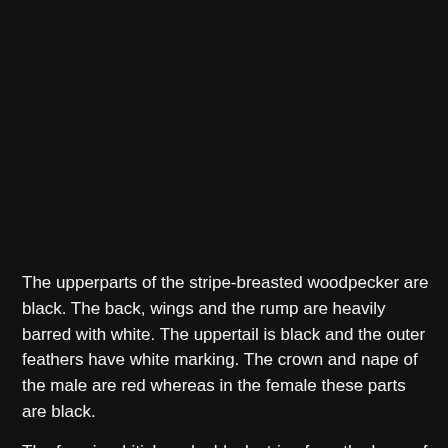[Figure (photo): Dark/black background area representing an image of a stripe-breasted woodpecker (image content not visible due to dark rendering)]
The upperparts of the stripe-breasted woodpecker are black. The back, wings and the rump are heavily barred with white. The uppertail is black and the outer feathers have white marking. The crown and nape of the male are red whereas in the female these parts are black.
The face is whitish and a black stripe from the base of the